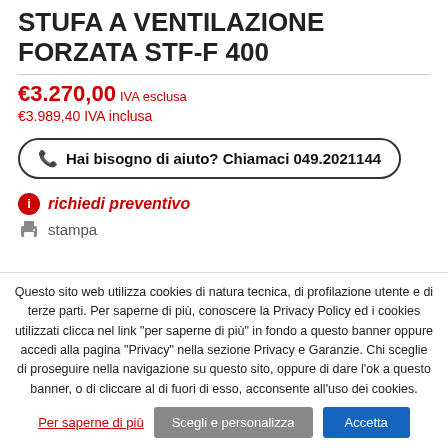STUFA A VENTILAZIONE FORZATA STF-F 400
€3.270,00 IVA esclusa
€3.989,40 IVA inclusa
☎ Hai bisogno di aiuto? Chiamaci 049.2021144
ℹ richiedi preventivo
🖶 stampa
Questo sito web utilizza cookies di natura tecnica, di profilazione utente e di terze parti. Per saperne di più, conoscere la Privacy Policy ed i cookies utilizzati clicca nel link "per saperne di più" in fondo a questo banner oppure accedi alla pagina "Privacy" nella sezione Privacy e Garanzie. Chi sceglie di proseguire nella navigazione su questo sito, oppure di dare l'ok a questo banner, o di cliccare al di fuori di esso, acconsente all'uso dei cookies.
Per saperne di più | Scegli e personalizza | Accetta